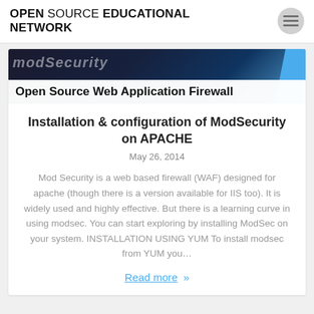OPEN SOURCE EDUCATIONAL NETWORK
[Figure (illustration): ModSecurity Open Source Web Application Firewall banner image with dark blue gradient background and a blue geometric bar on the right side]
Installation & configuration of ModSecurity on APACHE
May 26, 2014
Mod Security is a web based firewall (WAF) designed for apache (though there is a version available for IIS too). It is widely used and highly effective. But there is a learning curve in using modsec. You can start exploring by installing ModSec on your system. INSTALLATION USING YUM To install modsec from YUM you...
Read more »